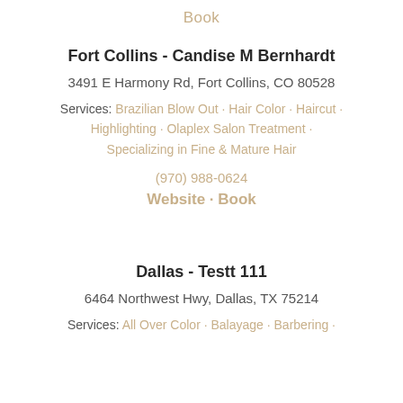Book
Fort Collins - Candise M Bernhardt
3491 E Harmony Rd, Fort Collins, CO 80528
Services: Brazilian Blow Out · Hair Color · Haircut · Highlighting · Olaplex Salon Treatment · Specializing in Fine & Mature Hair
(970) 988-0624
Website · Book
Dallas - Testt 111
6464 Northwest Hwy, Dallas, TX 75214
Services: All Over Color · Balayage · Barbering ·